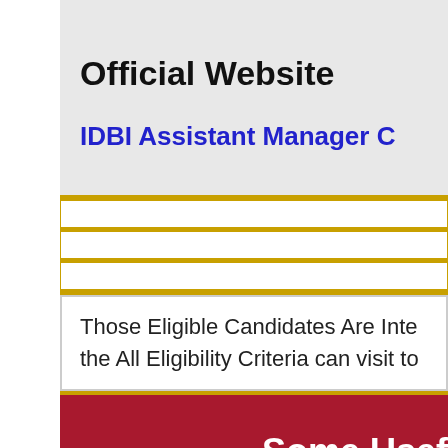Official Website
IDBI Assistant Manager C
Those Eligible Candidates Are Inte the All Eligibility Criteria can visit to
Some Usef